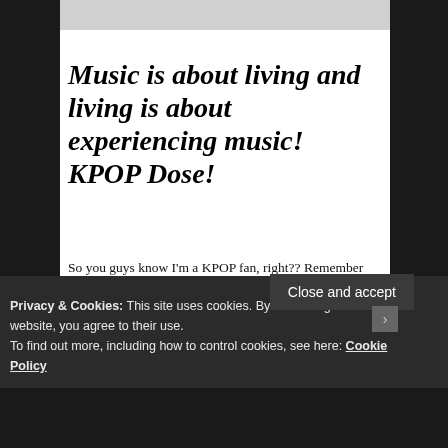Music is about living and living is about experiencing music!  KPOP Dose!
So you guys know I'm a KPOP fan, right?? Remember when I told you about NCT 127 and IKON with the awesome rapper BOBBY! Well, NCT 127 is now in the Billboard count thanks to their new song. We have to give thanks to BTS for this explosion. Without their work and talent we would never know about groups like the ones I mentioned above and below.
Privacy & Cookies: This site uses cookies. By continuing to use this website, you agree to their use.
To find out more, including how to control cookies, see here: Cookie Policy